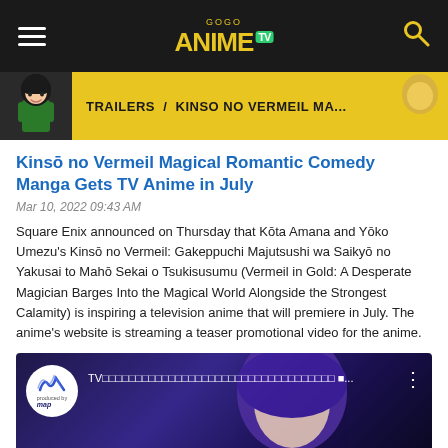GoGo Anime TV
TRAILERS / KINSO NO VERMEIL MA...
Kinsō no Vermeil Magical Romantic Comedy Manga Gets TV Anime in July
Mar 10, 2022 09:43 AM
Square Enix announced on Thursday that Kōta Amana and Yōko Umezu's Kinsō no Vermeil: Gakeppuchi Majutsushi wa Saikyō no Yakusai to Mahō Sekai o Tsukisusumu (Vermeil in Gold: A Desperate Magician Barges Into the Magical World Alongside the Strongest Calamity) is inspiring a television anime that will premiere in July. The anime's website is streaming a teaser promotional video for the anime.
[Figure (screenshot): Video thumbnail showing anime character with purple hair and MAP logo, with Japanese text title]